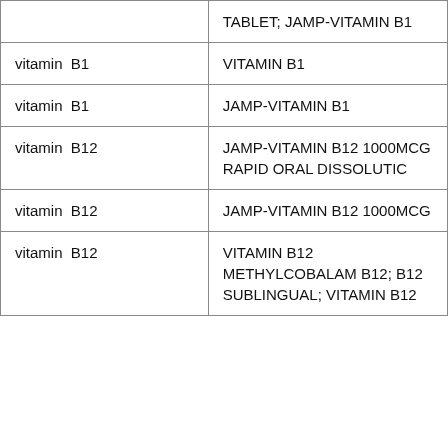| ingredient | product name |
| --- | --- |
|  | TABLET; JAMP-VITAMIN B1 |
| vitamin  B1 | VITAMIN B1 |
| vitamin  B1 | JAMP-VITAMIN B1 |
| vitamin  B12 | JAMP-VITAMIN B12 1000MCG RAPID ORAL DISSOLUTIC |
| vitamin  B12 | JAMP-VITAMIN B12 1000MCG |
| vitamin  B12 | VITAMIN B12 METHYLCOBALM B12; B12 SUBLINGUAL; VITAMIN B12 |